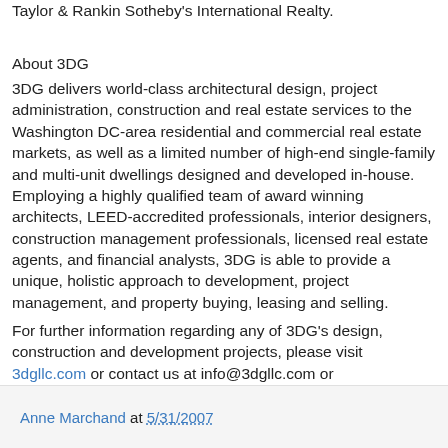Taylor & Rankin Sotheby's International Realty.
About 3DG
3DG delivers world-class architectural design, project administration, construction and real estate services to the Washington DC-area residential and commercial real estate markets, as well as a limited number of high-end single-family and multi-unit dwellings designed and developed in-house. Employing a highly qualified team of award winning architects, LEED-accredited professionals, interior designers, construction management professionals, licensed real estate agents, and financial analysts, 3DG is able to provide a unique, holistic approach to development, project management, and property buying, leasing and selling.
For further information regarding any of 3DG's design, construction and development projects, please visit 3dgllc.com or contact us at info@3dgllc.com or 202.291.3282.
Anne Marchand at 5/31/2007